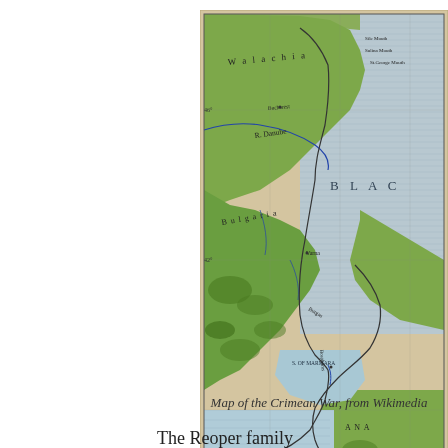[Figure (map): Historical map of the Crimean War region showing Wallachia, Bulgaria, the Black Sea, Aegean Sea, Sea of Marmara, and surrounding territories. Published by Cambridge University Press. Shows coastlines, rivers including R. Danube, geographical labels, and topographical features in green and blue tones.]
Map of the Crimean War, from Wikimedia
The Reoper family